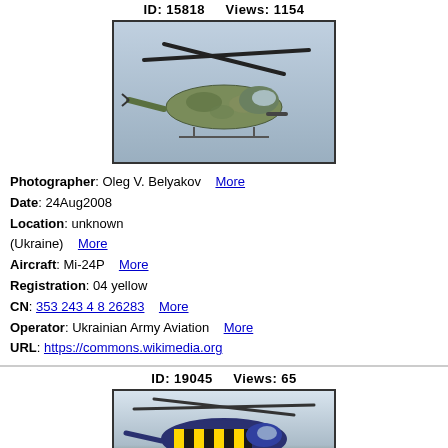ID: 15818    Views: 1154
[Figure (photo): Military helicopter Mi-24P in camouflage pattern, airborne, viewed from front-left angle]
Photographer: Oleg V. Belyakov   More
Date: 24Aug2008
Location: unknown (Ukraine)   More
Aircraft: Mi-24P   More
Registration: 04 yellow
CN: 353 243 4 8 26283   More
Operator: Ukrainian Army Aviation   More
URL: https://commons.wikimedia.org
ID: 19045    Views: 65
[Figure (photo): Military helicopter on ground with yellow and black striped livery]